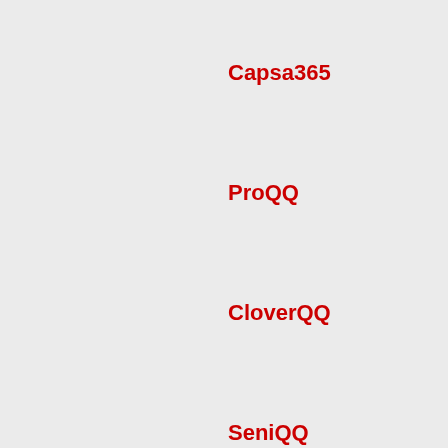Capsa365
ProQQ
CloverQQ
SeniQQ
Tamu99
Teskiu
SensasiQQ
MingguQQ
Domino855